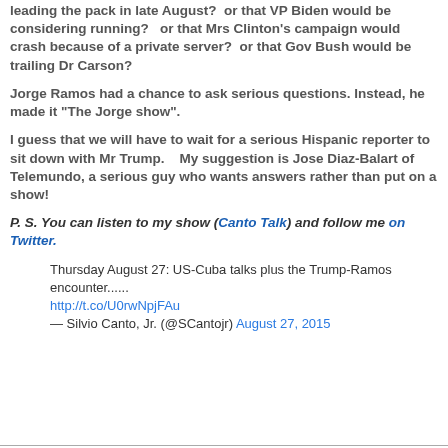leading the pack in late August?  or that VP Biden would be considering running?  or that Mrs Clinton's campaign would crash because of a private server?  or that Gov Bush would be trailing Dr Carson?
Jorge Ramos had a chance to ask serious questions. Instead, he made it "The Jorge show".
I guess that we will have to wait for a serious Hispanic reporter to sit down with Mr Trump.    My suggestion is Jose Diaz-Balart of Telemundo, a serious guy who wants answers rather than put on a show!
P. S. You can listen to my show (Canto Talk) and follow me on Twitter.
Thursday August 27: US-Cuba talks plus the Trump-Ramos encounter......
http://t.co/U0rwNpjFAu
— Silvio Canto, Jr. (@SCantojr) August 27, 2015